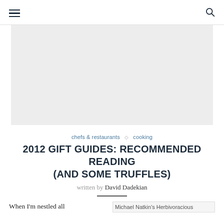≡  🔍
[Figure (other): Gray advertisement placeholder banner]
chefs & restaurants ◇ cooking
2012 GIFT GUIDES: RECOMMENDED READING (AND SOME TRUFFLES)
written by David Dadekian
When I'm nestled all
[Figure (photo): Michael Natkin's Herbivoracious book cover image]